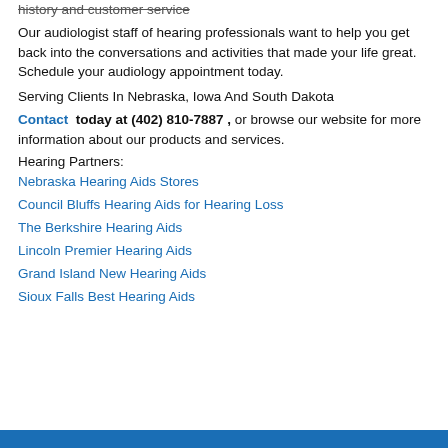history and customer service
Our audiologist staff of hearing professionals want to help you get back into the conversations and activities that made your life great. Schedule your audiology appointment today.
Serving Clients In Nebraska, Iowa And South Dakota
Contact  today at (402) 810-7887 , or browse our website for more information about our products and services.
Hearing Partners:
Nebraska Hearing Aids Stores
Council Bluffs Hearing Aids for Hearing Loss
The Berkshire Hearing Aids
Lincoln Premier Hearing Aids
Grand Island New Hearing Aids
Sioux Falls Best Hearing Aids